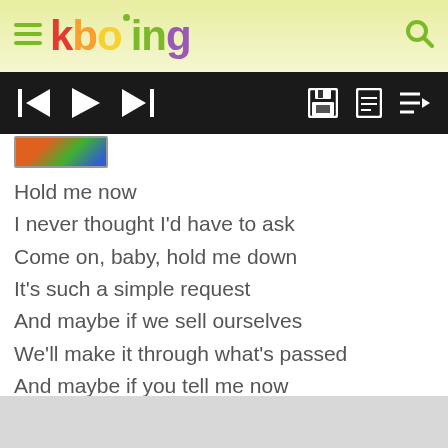kboing
[Figure (screenshot): Music player controls bar with skip back, play, skip forward buttons on the left and save, document, and playlist icons on the right, on a dark background]
[Figure (photo): Small album art thumbnail]
Hold me now
I never thought I'd have to ask
Come on, baby, hold me down
It's such a simple request
And maybe if we sell ourselves
We'll make it through what's passed
And maybe if you tell me now
We'll be the last, we'll be the last
B...